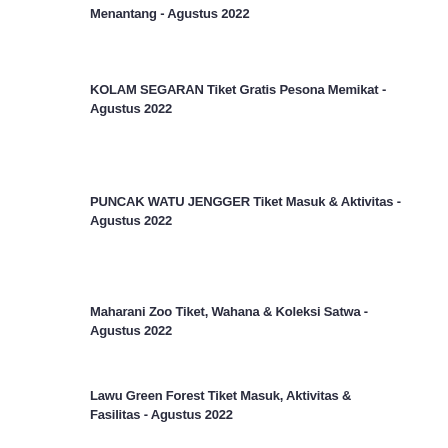Menantang - Agustus 2022
KOLAM SEGARAN Tiket Gratis Pesona Memikat - Agustus 2022
PUNCAK WATU JENGGER Tiket Masuk & Aktivitas - Agustus 2022
Maharani Zoo Tiket, Wahana & Koleksi Satwa - Agustus 2022
Lawu Green Forest Tiket Masuk, Aktivitas & Fasilitas - Agustus 2022